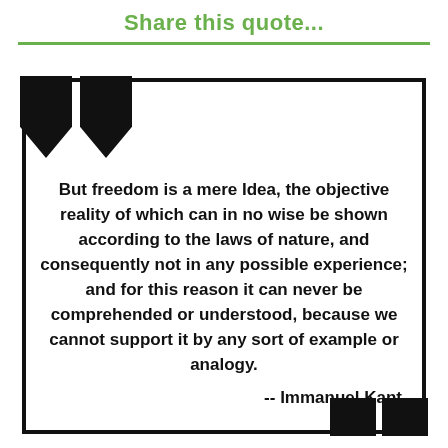Share this quote...
But freedom is a mere Idea, the objective reality of which can in no wise be shown according to the laws of nature, and consequently not in any possible experience; and for this reason it can never be comprehended or understood, because we cannot support it by any sort of example or analogy.

-- Immanuel Kant